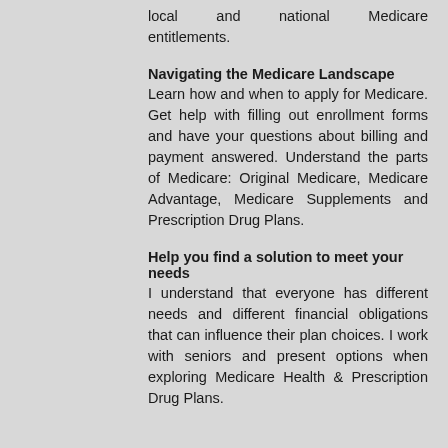local and national Medicare entitlements.
Navigating the Medicare Landscape
Learn how and when to apply for Medicare. Get help with filling out enrollment forms and have your questions about billing and payment answered. Understand the parts of Medicare: Original Medicare, Medicare Advantage, Medicare Supplements and Prescription Drug Plans.
Help you find a solution to meet your needs
I understand that everyone has different needs and different financial obligations that can influence their plan choices. I work with seniors and present options when exploring Medicare Health & Prescription Drug Plans.